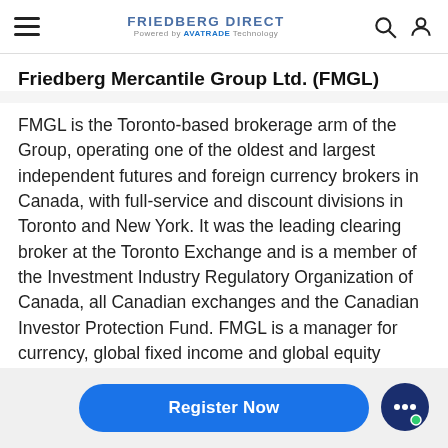FRIEDBERG DIRECT Powered by AVATRADE Technology
Friedberg Mercantile Group Ltd. (FMGL)
FMGL is the Toronto-based brokerage arm of the Group, operating one of the oldest and largest independent futures and foreign currency brokers in Canada, with full-service and discount divisions in Toronto and New York. It was the leading clearing broker at the Toronto Exchange and is a member of the Investment Industry Regulatory Organization of Canada, all Canadian exchanges and the Canadian Investor Protection Fund. FMGL is a manager for currency, global fixed income and global equity portfolios. FMGL also publishes Friedberg's
Register Now